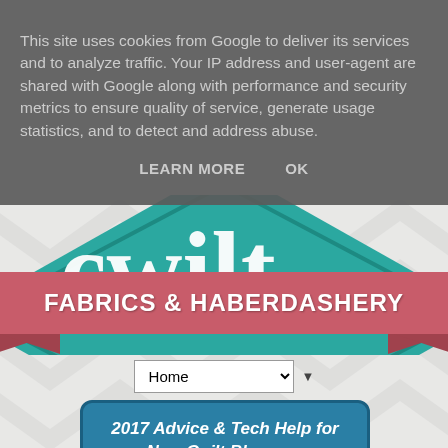This site uses cookies from Google to deliver its services and to analyze traffic. Your IP address and user-agent are shared with Google along with performance and security metrics to ensure quality of service, generate usage statistics, and to detect and address abuse.
LEARN MORE   OK
[Figure (screenshot): Website logo area showing partial teal/green diamond shape with stylized white text 'cwilt' visible at top]
FABRICS & HABERDASHERY
[Figure (screenshot): Navigation dropdown selector showing 'Home' with chevron arrow and a small down-arrow button beside it]
2017 Advice & Tech Help for New Quilt Bloggers